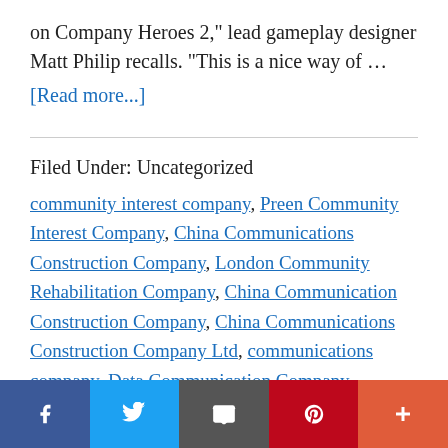on Company Heroes 2," lead gameplay designer Matt Philip recalls. "This is a nice way of …
[Read more...]
Filed Under: Uncategorized
community interest company, Preen Community Interest Company, China Communications Construction Company, London Community Rehabilitation Company, China Communication Construction Company, China Communications Construction Company Ltd, communications company, Data Communication Company, company of heroes 2, company of heroes, a company of heroes, company of heroes 3, company